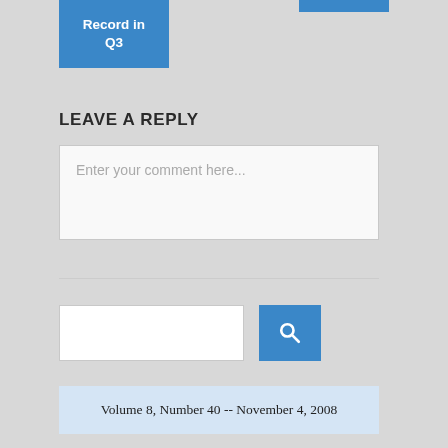[Figure (screenshot): Blue button/box with text 'Record in Q3' in white]
LEAVE A REPLY
[Figure (screenshot): Comment text input area with placeholder text 'Enter your comment here...']
[Figure (screenshot): Search input field and blue search button with magnifier icon]
Volume 8, Number 40 -- November 4, 2008